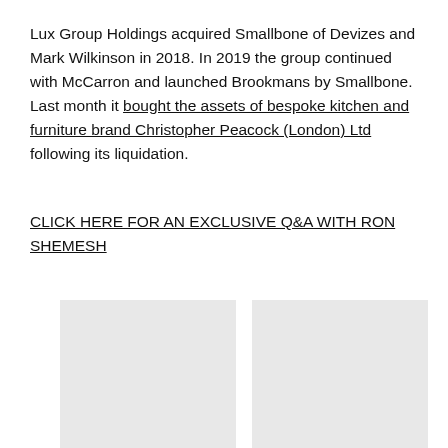Lux Group Holdings acquired Smallbone of Devizes and Mark Wilkinson in 2018. In 2019 the group continued with McCarron and launched Brookmans by Smallbone. Last month it bought the assets of bespoke kitchen and furniture brand Christopher Peacock (London) Ltd following its liquidation.
CLICK HERE FOR AN EXCLUSIVE Q&A WITH RON SHEMESH
[Figure (photo): Gray placeholder image, left of two side-by-side images in first row]
[Figure (photo): Gray placeholder image, right of two side-by-side images in first row]
[Figure (photo): Gray placeholder image, left of two side-by-side images in second row (partially visible)]
[Figure (photo): Gray placeholder image, right of two side-by-side images in second row (partially visible)]